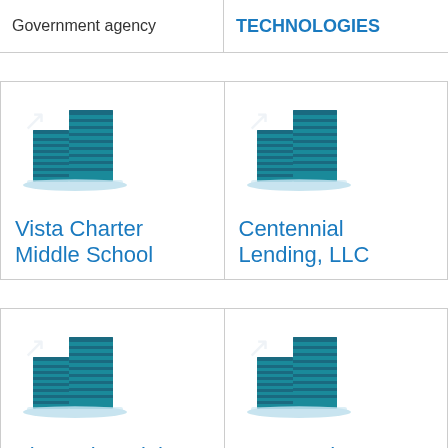Government agency
TECHNOLOGIES
[Figure (illustration): Building icon for Vista Charter Middle School]
Vista Charter Middle School
[Figure (illustration): Building icon for Centennial Lending, LLC]
Centennial Lending, LLC
[Figure (illustration): Building icon for Alternative High School]
Alternative High School
[Figure (illustration): Building icon for St. Joseph's Children's Home]
St. Joseph's Children's Home